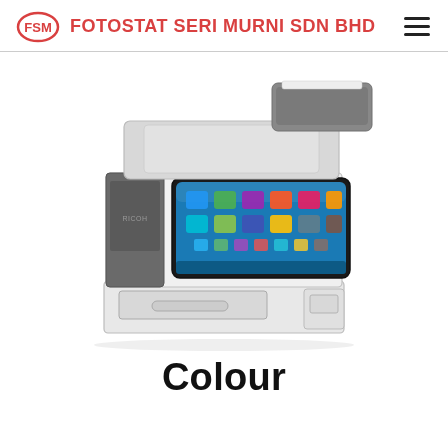FOTOSTAT SERI MURNI SDN BHD
[Figure (photo): Front view of a Ricoh color multifunction printer/copier with touchscreen display, paper trays, and document feeder on top. The machine is white/light gray with a dark control panel and large touchscreen interface.]
Colour